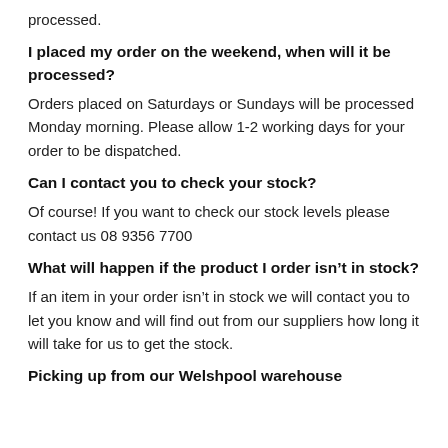processed.
I placed my order on the weekend, when will it be processed?
Orders placed on Saturdays or Sundays will be processed Monday morning. Please allow 1-2 working days for your order to be dispatched.
Can I contact you to check your stock?
Of course! If you want to check our stock levels please contact us 08 9356 7700
What will happen if the product I order isn’t in stock?
If an item in your order isn’t in stock we will contact you to let you know and will find out from our suppliers how long it will take for us to get the stock.
Picking up from our Welshpool warehouse